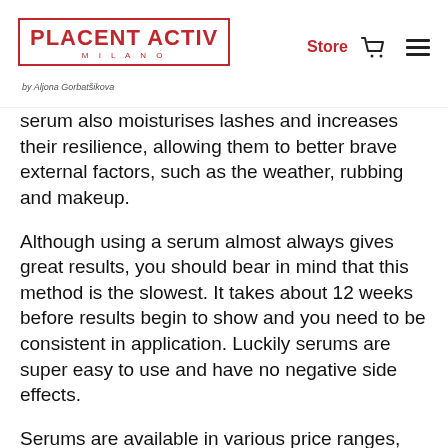PLACENT ACTIV MILANO by Aljona Gorbatšikova | Store
serum also moisturises lashes and increases their resilience, allowing them to better brave external factors, such as the weather, rubbing and makeup.
Although using a serum almost always gives great results, you should bear in mind that this method is the slowest. It takes about 12 weeks before results begin to show and you need to be consistent in application. Luckily serums are super easy to use and have no negative side effects.
Serums are available in various price ranges, but more expensive does not necessarily equal better. Everybody is different, thus the results can vary from one person to another. To find a product that really works, you need to check whether it boosts eyelash